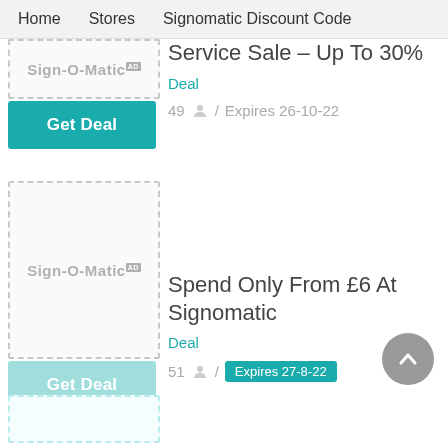Home   Stores   Signomatic Discount Code
Service Sale – Up To 30%
Deal
49  /  Expires 26-10-22
[Figure (logo): Sign-O-Matic logo placeholder box with dashed border and Get Deal teal button]
Spend Only From £6 At Signomatic
Deal
51  /  Expires 27-8-22
[Figure (logo): Sign-O-Matic logo placeholder box with dashed border and light teal Get Deal button]